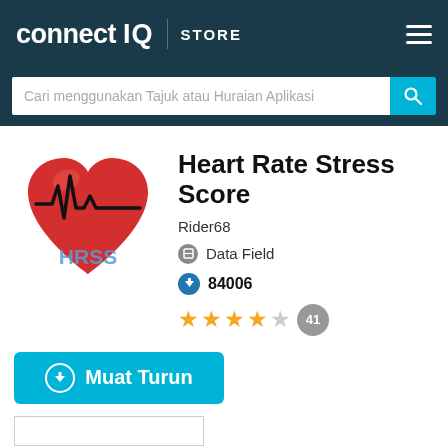connect IQ STORE
Cari menggunakan Tajuk atau Huraian Aplikasi
[Figure (logo): Heart Rate Stress Score app icon: red heart with ECG line and HRSS text in blue]
Heart Rate Stress Score
Rider68
Data Field
84006
★★★★☆ 41
⬇ Muat Turun